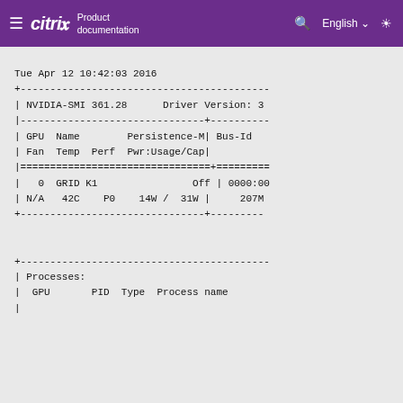Citrix Product documentation | English | Search
Tue Apr 12 10:42:03 2016
+----------------------------------------------
| NVIDIA-SMI 361.28      Driver Version: 3
|-------------------------------+---------
| GPU  Name        Persistence-M| Bus-Id
| Fan  Temp  Perf  Pwr:Usage/Cap|
|================================+========
|   0  GRID K1                Off | 0000:00
| N/A   42C    P0    14W /  31W |    207M
+-------------------------------+--------


+----------------------------------------------
| Processes:
|  GPU       PID  Type  Process name
|